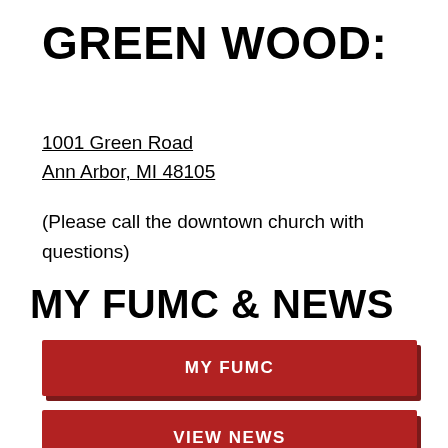GREEN WOOD:
1001 Green Road
Ann Arbor, MI 48105
(Please call the downtown church with questions)
MY FUMC & NEWS
MY FUMC
VIEW NEWS